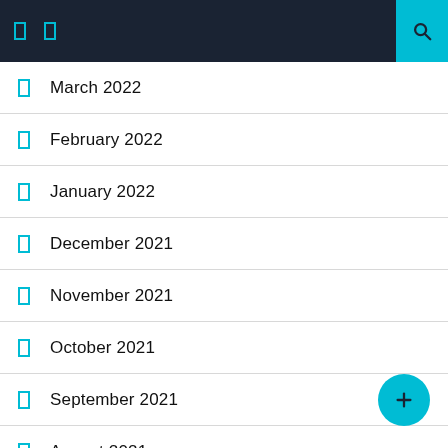Navigation bar with menu icons and search
March 2022
February 2022
January 2022
December 2021
November 2021
October 2021
September 2021
August 2021
July 2021
June 2021